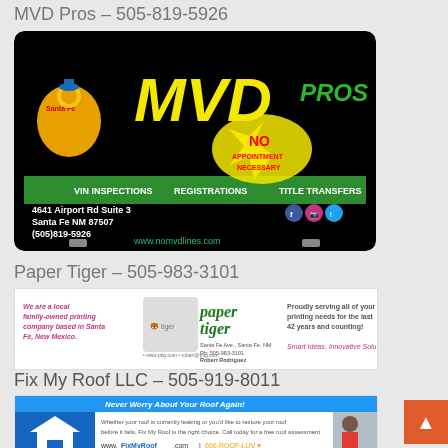MVD Pros – 505-819-5926
[Figure (advertisement): MVD Pros advertisement showing VIN Inspections, Registrations, Title Transfers, address 4641 Airport Rd Suite 3, Santa Fe NM 87507, phone (505)819-5926, website www.nomvdlines.com, No Appointment Necessary]
Paper Tiger – 505-983-3101
[Figure (advertisement): Paper Tiger local family-owned printing company ad, Smart Ideas, Innovative Solutions, Robert Rodriguez, www.ptig.com]
Fix My Roof LLC – 505-919-8011
[Figure (advertisement): Fix My Roof LLC ad - Never Worry About Your Roof Again! www.FixMyRoof.com, 666-ROOF-LUV]